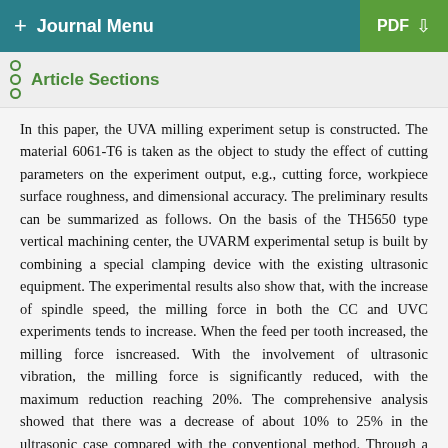+ Journal Menu | PDF ↓
Article Sections
In this paper, the UVA milling experiment setup is constructed. The material 6061-T6 is taken as the object to study the effect of cutting parameters on the experiment output, e.g., cutting force, workpiece surface roughness, and dimensional accuracy. The preliminary results can be summarized as follows. On the basis of the TH5650 type vertical machining center, the UVARM experimental setup is built by combining a special clamping device with the existing ultrasonic equipment. The experimental results also show that, with the increase of spindle speed, the milling force in both the CC and UVC experiments tends to increase. When the feed per tooth increased, the milling force isncreased. With the involvement of ultrasonic vibration, the milling force is significantly reduced, with the maximum reduction reaching 20%. The comprehensive analysis showed that there was a decrease of about 10% to 25% in the ultrasonic case compared with the conventional method. Through a comparative study on the surface morphology of the 2D and 3D images of the processed surface, it is found that UVARM can